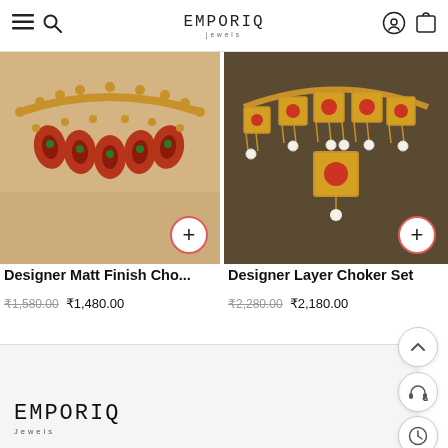EMPORIA Jewels — navigation header with menu, search, logo, account, cart
[Figure (photo): Close-up photo of a gold designer matt finish choker necklace with red and green meenakari leaf pendants on a beige background]
[Figure (photo): Close-up photo of a designer layered choker set with gold square panels and pearl drops on a dark brown background]
Designer Matt Finish Cho...
Designer Layer Choker Set
₹1,580.00  ₹1,480.00
₹2,280.00  ₹2,180.00
EMPORIA Jewels — footer logo